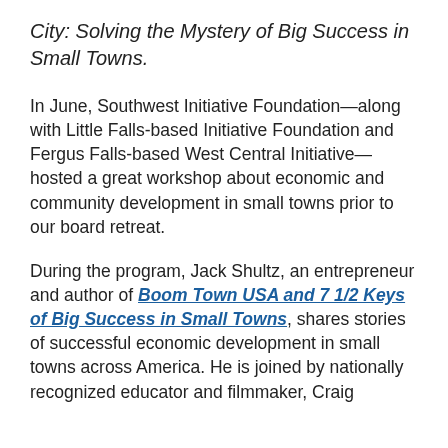City: Solving the Mystery of Big Success in Small Towns.
In June, Southwest Initiative Foundation—along with Little Falls-based Initiative Foundation and Fergus Falls-based West Central Initiative—hosted a great workshop about economic and community development in small towns prior to our board retreat.
During the program, Jack Shultz, an entrepreneur and author of Boom Town USA and 7 1/2 Keys of Big Success in Small Towns, shares stories of successful economic development in small towns across America. He is joined by nationally recognized educator and filmmaker, Craig